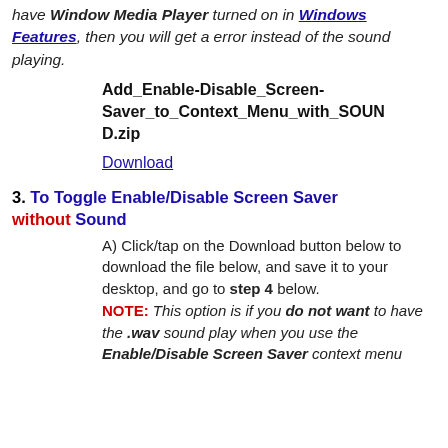have Window Media Player turned on in Windows Features, then you will get a error instead of the sound playing.
Add_Enable-Disable_Screen-Saver_to_Context_Menu_with_SOUND.zip
Download
3. To Toggle Enable/Disable Screen Saver without Sound
A) Click/tap on the Download button below to download the file below, and save it to your desktop, and go to step 4 below. NOTE: This option is if you do not want to have the .wav sound play when you use the Enable/Disable Screen Saver context menu